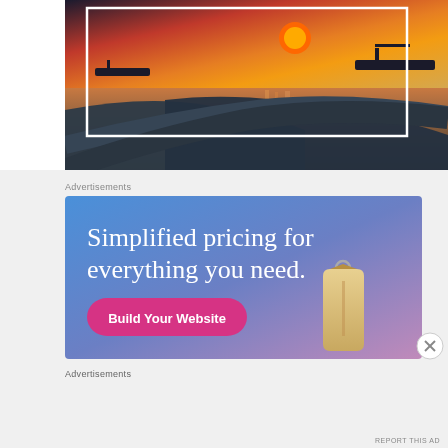[Figure (photo): Sunset over the sea with traditional outrigger boats silhouetted against an orange and red sky, foreground shows boat parts in blue tones. A white rectangle outline is superimposed on the image.]
Advertisements
[Figure (infographic): Advertisement banner with blue-to-purple gradient background showing text 'Simplified pricing for everything you need.' with a pink 'Build Your Website' button and a hanging price tag graphic on the right.]
Advertisements
REPORT THIS AD